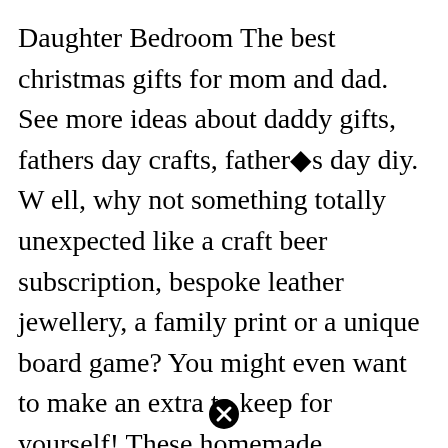Daughter Bedroom The best christmas gifts for mom and dad. See more ideas about daddy gifts, fathers day crafts, father�s day diy. W ell, why not something totally unexpected like a craft beer subscription, bespoke leather jewellery, a family print or a unique board game? You might even want to make an extra to keep for yourself! These homemade christmas gifts kids can make on their own are beautiful and are meant to be cherished for years to come.
[Figure (other): A black circle with a white X inside, resembling a close/cancel button icon]